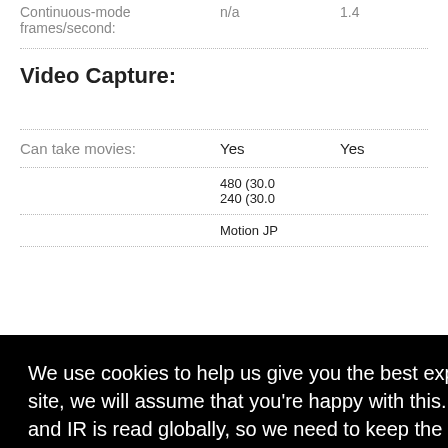|  |  |  |
| --- | --- | --- |
| Continuous-mode frames/second: | n/a | 1.4 |
Video Capture:
|  |  |  |
| --- | --- | --- |
| Can take movies: | Yes | Yes |
|  | 480 (30.0 | 240 (30.0 |
|  | Motion JP |  |
We use cookies to help us give you the best experience on IR. If you continue to use this site, we will assume that you're happy with this. This notice is required by recent EU rules, and IR is read globally, so we need to keep the bureaucrats off our case!
Learn more
Got it!